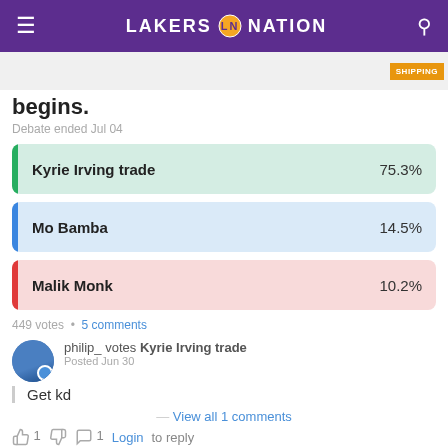LAKERS NATION
[Figure (screenshot): Advertisement banner with shipping text]
begins.
Debate ended Jul 04
[Figure (bar-chart): Poll results]
449 votes • 5 comments
philip_ votes Kyrie Irving trade
Posted Jun 30
Get kd
View all 1 comments
1  1  Login to reply